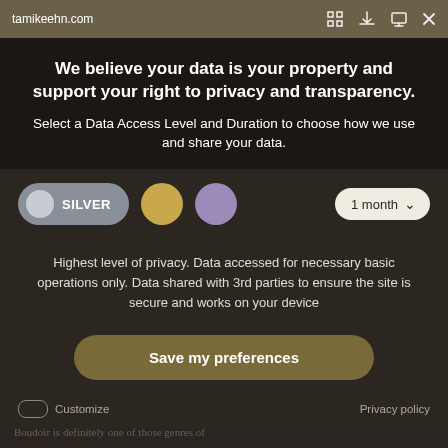tamikeehn.com
We believe your data is your property and support your right to privacy and transparency.
Select a Data Access Level and Duration to choose how we use and share your data.
SILVER  1 month
Highest level of privacy. Data accessed for necessary basic operations only. Data shared with 3rd parties to ensure the site is secure and works on your device
Save my preferences
Customize  Privacy policy
Ten Tips on How to Empower Women with
Boudoir is definitely one of those genres of